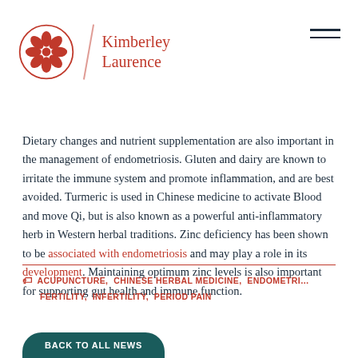Kimberley Laurence
Dietary changes and nutrient supplementation are also important in the management of endometriosis. Gluten and dairy are known to irritate the immune system and promote inflammation, and are best avoided. Turmeric is used in Chinese medicine to activate Blood and move Qi, but is also known as a powerful anti-inflammatory herb in Western herbal traditions. Zinc deficiency has been shown to be associated with endometriosis and may play a role in its development. Maintaining optimum zinc levels is also important for supporting gut health and immune function.
ACUPUNCTURE, CHINESE HERBAL MEDICINE, ENDOMETRIOSIS, FERTILITY, INFERTILITY, PERIOD PAIN
BACK TO ALL NEWS